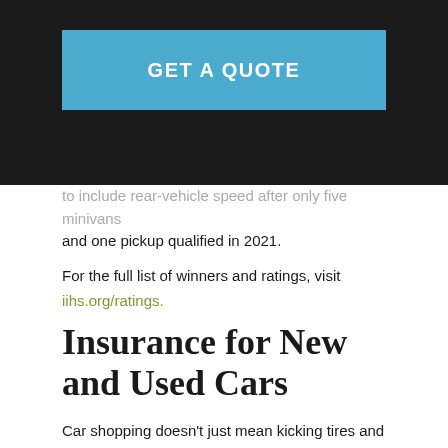GET A QUOTE
to include rear-vehicle speed after only five minivans and one pickup qualified in 2021.
For the full list of winners and ratings, visit iihs.org/ratings.
Insurance for New and Used Cars
Car shopping doesn't just mean kicking tires and taking